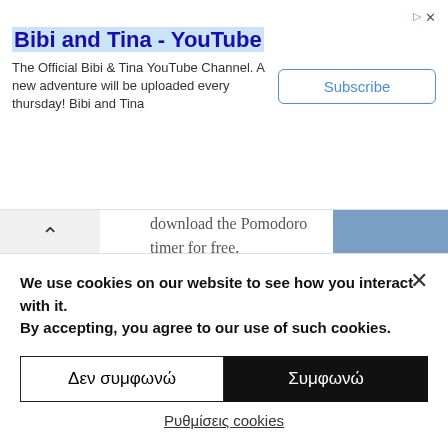[Figure (screenshot): YouTube ad banner for 'Bibi and Tina' channel with Subscribe button]
download the Pomodoro timer for free, and start working.
This way you can tell how much time you really need for recording guitars on your song.You can be more efficient and more productive. If you haven't still applied this technique, I suggest you do that. It's very helpful and you can get better results
We use cookies on our website to see how you interact with it. By accepting, you agree to our use of such cookies.
Δεν συμφωνώ
Συμφωνώ
Ρυθμίσεις cookies